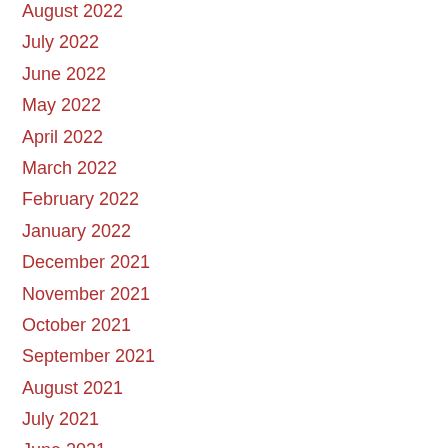August 2022
July 2022
June 2022
May 2022
April 2022
March 2022
February 2022
January 2022
December 2021
November 2021
October 2021
September 2021
August 2021
July 2021
June 2021